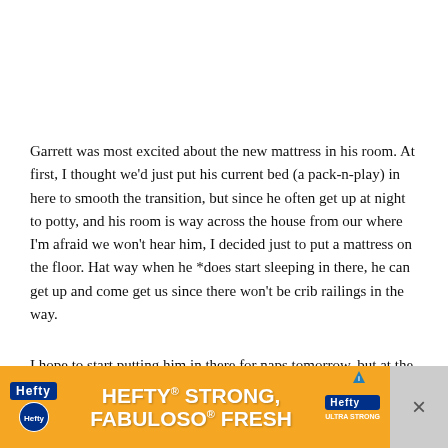Garrett was most excited about the new mattress in his room. At first, I thought we'd just put his current bed (a pack-n-play) in here to smooth the transition, but since he often get up at night to potty, and his room is way across the house from our where I'm afraid we won't hear him, I decided just to put a mattress on the floor. Hat way when he *does start sleeping in there, he can get up and come get us since there won't be crib railings in the way.
I hope to start putting him in there for naps tomorrow, but at the rate things are going, we may have to set up a bed pallet... [text partially obscured by ad] comments... [text partially obscured] hours...
[Figure (other): Advertisement banner for Hefty and Fabuloso products reading HEFTY STRONG, FABULOSO FRESH on an orange background]